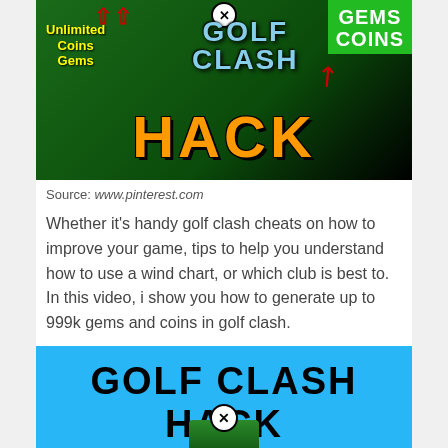[Figure (screenshot): Golf Clash Hack promotional image with green background, showing 'GOLF CLASH' title in blue, 'GEMS COINS' green box top right, red arrows, yellow 'Unlimited Coins Gems' text left, and large orange 'HACK' text at bottom]
Source: www.pinterest.com
Whether it's handy golf clash cheats on how to improve your game, tips to help you understand how to use a wind chart, or which club is best to. In this video, i show you how to generate up to 999k gems and coins in golf clash.
[Figure (screenshot): Golf Clash Hack promotional image with blue background showing 'GOLF CLASH HACK' in large black bold text, with a small golf scene at bottom and a close button]